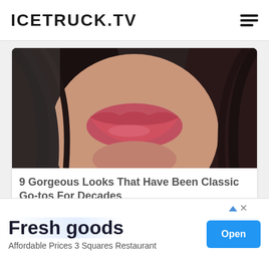ICETRUCK.TV
[Figure (photo): Close-up photo of a woman's face showing lips with pink/coral lipstick and dark hair]
9 Gorgeous Looks That Have Been Classic Go-tos For Decades
Herbeauty
RECENT POSTS
[Figure (other): Advertisement banner: Fresh goods, Affordable Prices 3 Squares Restaurant, with Open button]